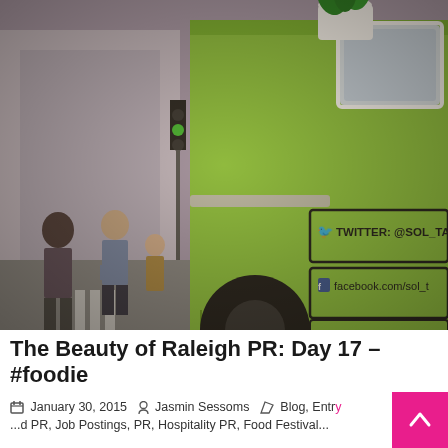[Figure (photo): A bright green food truck (Sol Tacos) parked on a city street with people standing nearby. The side of the truck shows social media handles: Twitter @SOL_TACOS and facebook.com/sol_t... A white planter with greenery sits on top of the truck window.]
The Beauty of Raleigh PR: Day 17 – #foodie
January 30, 2015  Jasmin Sessoms  Blog, Entry... ...d PR, Job Postings, PR, Hospitality PR, Food Festival...